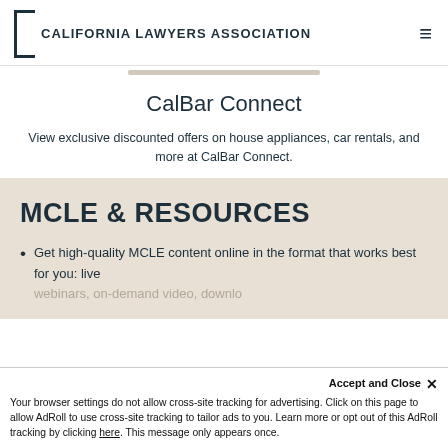CALIFORNIA LAWYERS ASSOCIATION
CalBar Connect
View exclusive discounted offers on house appliances, car rentals, and more at CalBar Connect.
MCLE & RESOURCES
Get high-quality MCLE content online in the format that works best for you: live webinars, on-demand video, downlo…
Accept and Close ✕ Your browser settings do not allow cross-site tracking for advertising. Click on this page to allow AdRoll to use cross-site tracking to tailor ads to you. Learn more or opt out of this AdRoll tracking by clicking here. This message only appears once.